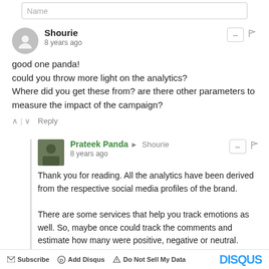Name
Shourie
8 years ago
good one panda!
could you throw more light on the analytics?
Where did you get these from? are there other parameters to measure the impact of the campaign?
Prateek Panda → Shourie
8 years ago
Thank you for reading. All the analytics have been derived from the respective social media profiles of the brand.

There are some services that help you track emotions as well. So, maybe once could track the comments and estimate how many were positive, negative or neutral.
Subscribe  Add Disqus  Do Not Sell My Data  DISQUS